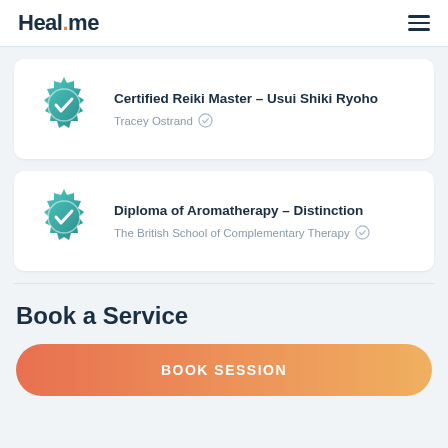Heal.me
Certified Reiki Master - Usui Shiki Ryoho
Tracey Ostrand ✓
Diploma of Aromatherapy - Distinction
The British School of Complementary Therapy ✓
Book a Service
BOOK SESSION